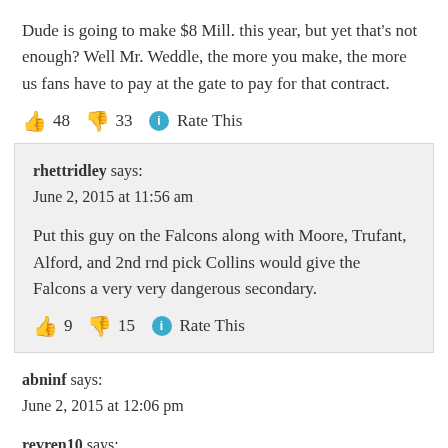Dude is going to make $8 Mill. this year, but yet that’s not enough? Well Mr. Weddle, the more you make, the more us fans have to pay at the gate to pay for that contract.
👍 48 👎 33 ℹ Rate This
rhettridley says:
June 2, 2015 at 11:56 am
Put this guy on the Falcons along with Moore, Trufant, Alford, and 2nd rnd pick Collins would give the Falcons a very very dangerous secondary.
👍 9 👎 15 ℹ Rate This
abninf says:
June 2, 2015 at 12:06 pm
revren10 says:
Jun 2, 2015 11:13 AM